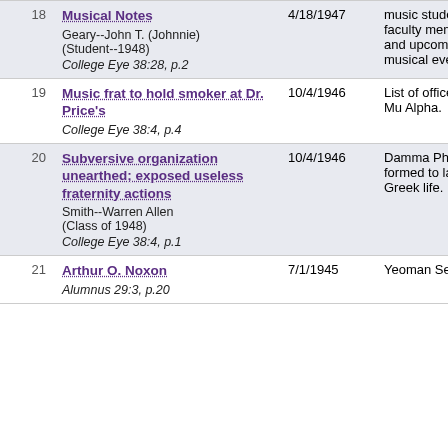| # | Title / Author / Source | Date | Description |
| --- | --- | --- | --- |
| 18 | Musical Notes
Geary--John T. (Johnnie) (Student--1948)
College Eye 38:28, p.2 | 4/18/1947 | ...music students, faculty members, and upcoming musical events. |
| 19 | Music frat to hold smoker at Dr. Price's
College Eye 38:4, p.4 | 10/4/1946 | List of officers of Phi Mu Alpha. |
| 20 | Subversive organization unearthed; exposed useless fraternity actions
Smith--Warren Allen (Class of 1948)
College Eye 38:4, p.1 | 10/4/1946 | Damma Phi No formed to lampoon Greek life. |
| 21 | Arthur O. Noxon
Alumnus 29:3, p.20 | 7/1/1945 | Yeoman Second... |